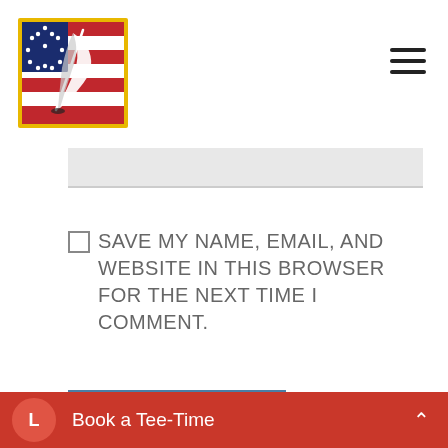[Figure (logo): American flag with quill pen logo, yellow border]
[Figure (other): Hamburger menu icon (three horizontal lines)]
[Figure (other): Light gray input/search bar]
SAVE MY NAME, EMAIL, AND WEBSITE IN THIS BROWSER FOR THE NEXT TIME I COMMENT.
[Figure (other): Blue 'Submit Comment' button]
[Figure (other): Blue circular share icon button]
Book a Tee-Time